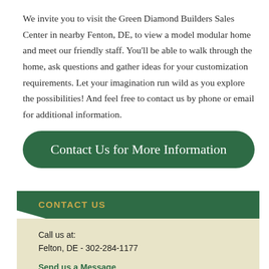We invite you to visit the Green Diamond Builders Sales Center in nearby Fenton, DE, to view a model modular home and meet our friendly staff. You'll be able to walk through the home, ask questions and gather ideas for your customization requirements. Let your imagination run wild as you explore the possibilities! And feel free to contact us by phone or email for additional information.
Contact Us for More Information
CONTACT US
Call us at:
Felton, DE - 302-284-1177
Send us a Message